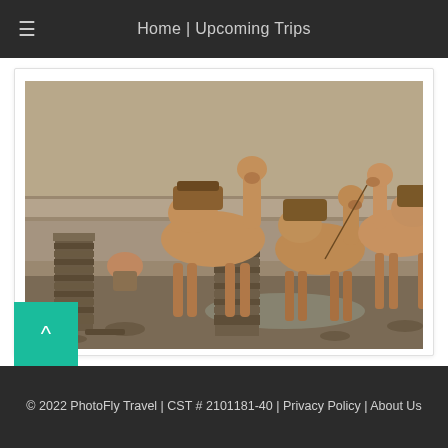Home | Upcoming Trips
[Figure (photo): Camels loaded with salt slabs standing on cracked salt flats, with stacks of salt blocks in the foreground and a hazy sky in the background. A person can be seen crouching near the salt stacks on the left.]
© 2022 PhotoFly Travel | CST # 2101181-40 | Privacy Policy | About Us